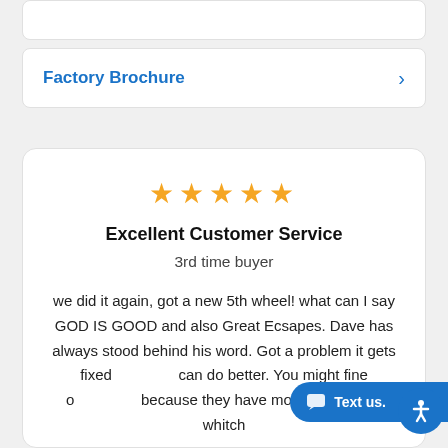Factory Brochure
Excellent Customer Service
3rd time buyer
we did it again, got a new 5th wheel! what can I say GOD IS GOOD and also Great Ecsapes. Dave has always stood behind his word. Got a problem it gets fixed can do better. You might fine o because they have more employees whitch